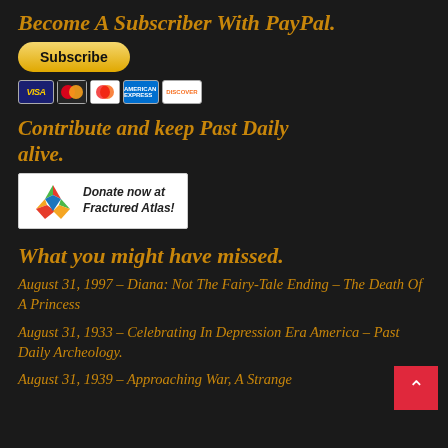Become A Subscriber With PayPal.
[Figure (other): PayPal Subscribe button with payment card icons (Visa, Mastercard, Discover, American Express, Discover)]
Contribute and keep Past Daily alive.
[Figure (other): Fractured Atlas donation button with logo and text 'Donate now at Fractured Atlas!']
What you might have missed.
August 31, 1997 – Diana: Not The Fairy-Tale Ending – The Death Of A Princess
August 31, 1933 – Celebrating In Depression Era America – Past Daily Archeology.
August 31, 1939 – Approaching War, A Strange